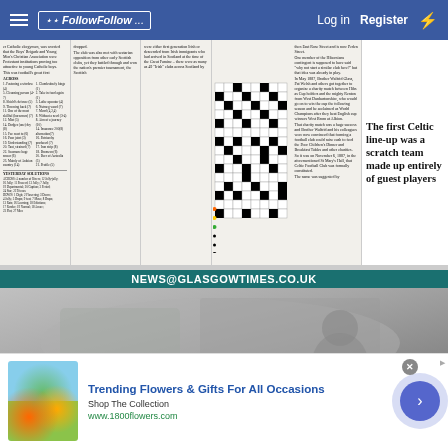FollowFollow — Log in  Register
[Figure (photo): Scanned newspaper page showing columns of text about early Celtic Football Club history, a crossword puzzle grid, and a bold headline reading 'The first Celtic line-up was a scratch team made up entirely of guest players']
[Figure (photo): Newspaper front page image showing 'NEWS@GLASGOWTIMES.CO.UK' header in teal, with a black and white photograph below partially showing text 'BABY']
[Figure (infographic): Advertisement banner for 1800flowers.com: 'Trending Flowers & Gifts For All Occasions — Shop The Collection — www.1800flowers.com' with woman holding flowers image and circular arrow button]